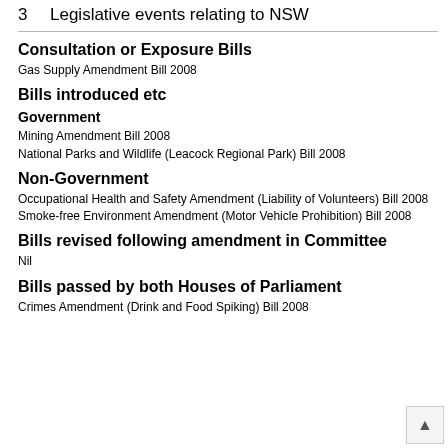3   Legislative events relating to NSW
Consultation or Exposure Bills
Gas Supply Amendment Bill 2008
Bills introduced etc
Government
Mining Amendment Bill 2008
National Parks and Wildlife (Leacock Regional Park) Bill 2008
Non-Government
Occupational Health and Safety Amendment (Liability of Volunteers) Bill 2008
Smoke-free Environment Amendment (Motor Vehicle Prohibition) Bill 2008
Bills revised following amendment in Committee
Nil
Bills passed by both Houses of Parliament
Crimes Amendment (Drink and Food Spiking) Bill 2008